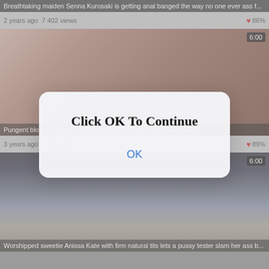Breathtaking maiden Senna Kurosaki is getting anal banged the way no one ever ass f...
2 years ago  7 402 views  ❤ 86%
[Figure (photo): Blurred close-up adult video thumbnail with duration badge 6:00]
Pungent blonde minx got butt fucked by her paramour she opened
3 years ago  4716 views  ❤ 89%
[Figure (screenshot): Modal dialog overlay reading 'Click OK To Continue' with OK button in blue]
[Figure (photo): Adult video thumbnail showing classroom scene with duration badge 6:00]
Worshipped sweetie Anissa Kate with firm natural tits lets a pussy tester slam her ass b...